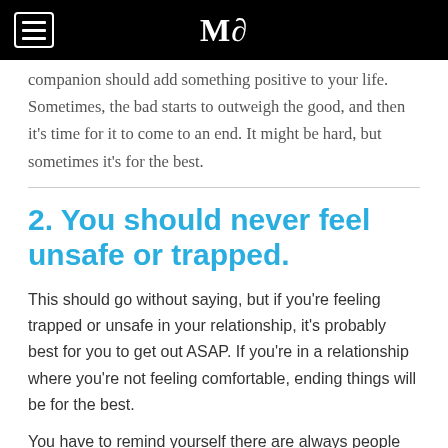MQ
companion should add something positive to your life. Sometimes, the bad starts to outweigh the good, and then it's time for it to come to an end. It might be hard, but sometimes it's for the best.
2. You should never feel unsafe or trapped.
This should go without saying, but if you're feeling trapped or unsafe in your relationship, it's probably best for you to get out ASAP. If you're in a relationship where you're not feeling comfortable, ending things will be for the best.
You have to remind yourself there are always people who are there to help in these types of situations and can act as lifelines. You need to remember your comfort is essential, especially in a